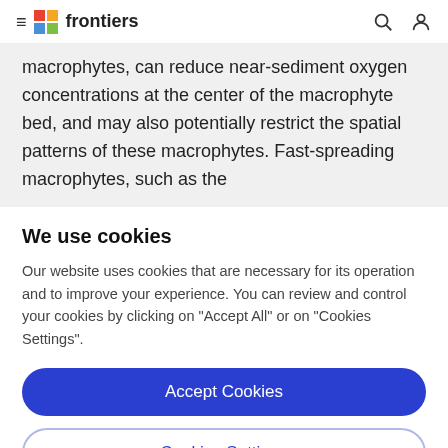frontiers
macrophytes, can reduce near-sediment oxygen concentrations at the center of the macrophyte bed, and may also potentially restrict the spatial patterns of these macrophytes. Fast-spreading macrophytes, such as the
We use cookies
Our website uses cookies that are necessary for its operation and to improve your experience. You can review and control your cookies by clicking on "Accept All" or on "Cookies Settings".
Accept Cookies
Cookies Settings